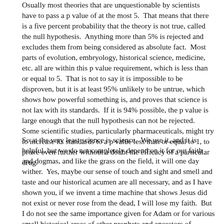Osually most theories that are unquestionable by scientists have to pass a p value of at the most 5. That means that there is a five percent probability that the theory is not true, called the null hypothesis. Anything more than 5% is rejected and excludes them from being considered as absolute fact. Most parts of evolution, embryology, historical science, medicine, etc. all are within this p value requirement, which is less than or equal to 5. That is not to say it is impossible to be disproven, but it is at least 95% unlikely to be untrue, which shows how powerful something is, and proves that science is not lax with its standards. If it is 94% possible, the p value is large enough that the null hypothesis can not be rejected. Some scientific studies, particularly pharmaceuticals, might try to increase its standards to a p value less than or equal to 1, to prove even further without a doubt the efficacy of a particular drug.
So at the very least science is science. We use it, and it is helpful, but we do not completely depend on it for our faith and dogmas, and like the grass on the field, it will one day wither. Yes, maybe our sense of touch and sight and smell and taste and our historical acumen are all necessary, and as I have shown you, if we invent a time machine that shows Jesus did not exist or never rose from the dead, I will lose my faith. But I do not see the same importance given for Adam or for various small historical areas of other prophets and ancestors of Christ. There is a lot of grey area to which I am unable to give a full answer, but to the best of my ability, this is what I am confident in, that the literal